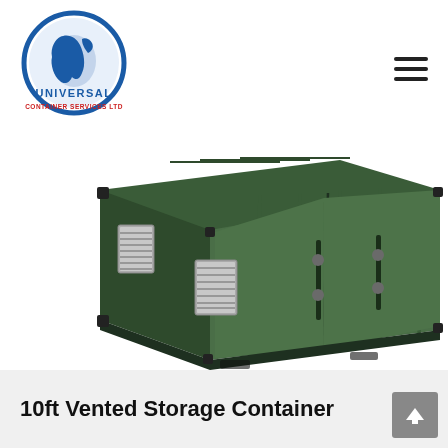[Figure (logo): Universal Container Services Ltd circular logo with world map silhouette in blue and red text]
[Figure (photo): Green 10ft vented storage container photographed from corner angle, showing ventilation grilles on side and door with locking bars]
10ft Vented Storage Container